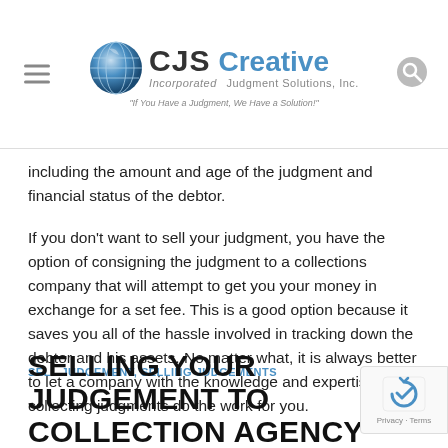CJS Creative Judgment Solutions, Inc. — If You Have a Judgment, We Have a Solution!
including the amount and age of the judgment and financial status of the debtor.
If you don't want to sell your judgment, you have the option of consigning the judgment to a collections company that will attempt to get you your money in exchange for a set fee. This is a good option because it saves you all of the hassle involved in tracking down the debtor and his assets. No matter what, it is always better to let a company with the knowledge and expertise in collecting judgments do the work for you.
SELL JUDGEMENT, SELLING JUDGEMENTS
SELLING YOUR JUDGEMENT TO COLLECTION AGENCY